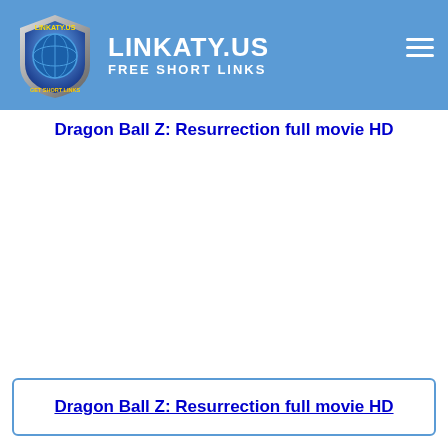[Figure (logo): Linkaty.us website header with shield logo and site name 'LINKATY.US FREE SHORT LINKS' on blue background with hamburger menu icon]
Dragon Ball Z: Resurrection full movie HD
Dragon Ball Z: Resurrection full movie HD